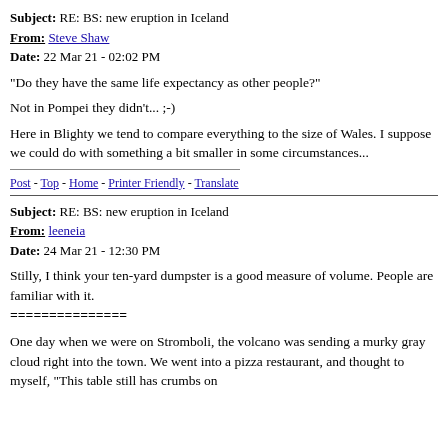Subject: RE: BS: new eruption in Iceland
From: Steve Shaw
Date: 22 Mar 21 - 02:02 PM
"Do they have the same life expectancy as other people?"
Not in Pompei they didn't... ;-)
Here in Blighty we tend to compare everything to the size of Wales. I suppose we could do with something a bit smaller in some circumstances...
Post - Top - Home - Printer Friendly - Translate
Subject: RE: BS: new eruption in Iceland
From: leeneia
Date: 24 Mar 21 - 12:30 PM
Stilly, I think your ten-yard dumpster is a good measure of volume. People are familiar with it.
===============
One day when we were on Stromboli, the volcano was sending a murky gray cloud right into the town. We went into a pizza restaurant, and thought to myself, "This table still has crumbs on